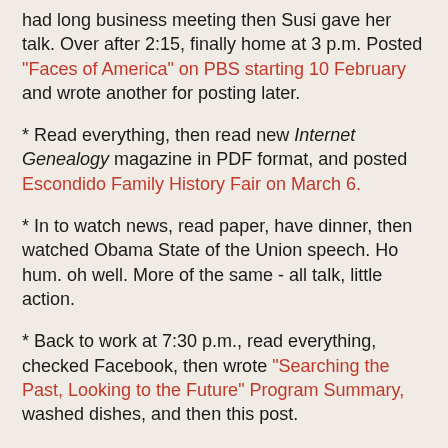had long business meeting then Susi gave her talk. Over after 2:15, finally home at 3 p.m. Posted "Faces of America" on PBS starting 10 February and wrote another for posting later.
* Read everything, then read new Internet Genealogy magazine in PDF format, and posted Escondido Family History Fair on March 6.
* In to watch news, read paper, have dinner, then watched Obama State of the Union speech. Ho hum. oh well. More of the same - all talk, little action.
* Back to work at 7:30 p.m., read everything, checked Facebook, then wrote "Searching the Past, Looking to the Future" Program Summary, washed dishes, and then this post.
Genealogy today was 9.0 hours - 0.5 hour doing email, 0.5 hour reading blogs, 0.5 hour on Twitter/Facebook, 2.5 hours at CVGS meeting, 1.0 hour reading magazine, and 4.0 hours writing blog posts.